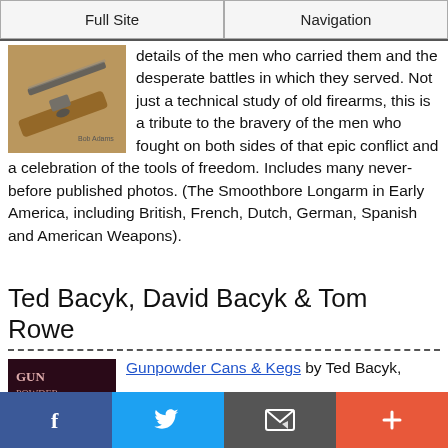Full Site | Navigation
[Figure (photo): Photo of an antique flintlock musket/longarm, brown wooden stock with metal barrel, displayed diagonally]
details of the men who carried them and the desperate battles in which they served. Not just a technical study of old firearms, this is a tribute to the bravery of the men who fought on both sides of that epic conflict and a celebration of the tools of freedom. Includes many never-before published photos. (The Smoothbore Longarm in Early America, including British, French, Dutch, German, Spanish and American Weapons).
Ted Bacyk, David Bacyk & Tom Rowe
[Figure (photo): Book cover thumbnail for Gunpowder Cans & Kegs, dark red/maroon background with text GUN POWDER...]
Gunpowder Cans & Kegs by Ted Bacyk,
This site uses cookies, some of which are required for its operation. Privacy